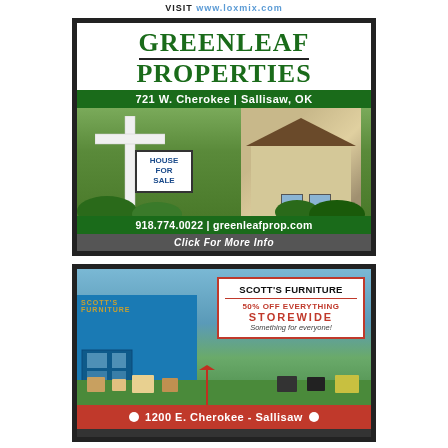VISIT www.loxmix.com
[Figure (photo): Greenleaf Properties real estate advertisement showing a house for sale sign in front of a home. Includes company name, address 721 W. Cherokee | Sallisaw, OK, phone 918.774.0022, website greenleafprop.com, and call-to-action 'Click For More Info'.]
[Figure (photo): Scott's Furniture advertisement showing a storefront with outdoor furniture display. Text reads: SCOTT'S FURNITURE, 50% OFF EVERYTHING STOREWIDE, Something for everyone!, 1200 E. Cherokee - Sallisaw.]